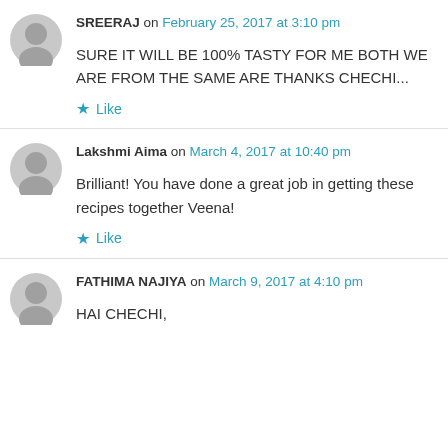SREERAJ on February 25, 2017 at 3:10 pm
SURE IT WILL BE 100% TASTY FOR ME BOTH WE ARE FROM THE SAME ARE THANKS CHECHI...
Like
Lakshmi Aima on March 4, 2017 at 10:40 pm
Brilliant! You have done a great job in getting these recipes together Veena!
Like
FATHIMA NAJIYA on March 9, 2017 at 4:10 pm
HAI CHECHI,